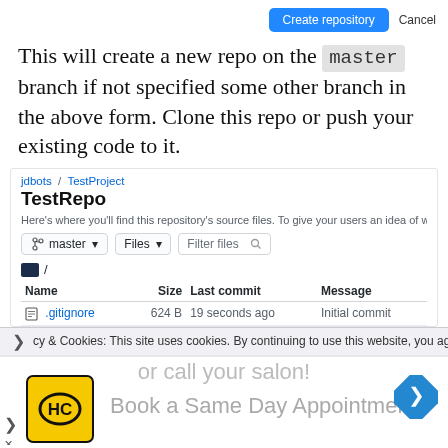[Figure (screenshot): GitHub repository creation page showing Create repository and Cancel buttons, text about creating a new repo on the master branch, and a repository file browser for TestProject/TestRepo with a .gitignore file]
This will create a new repo on the master branch if not specified some other branch in the above form. Clone this repo or push your existing code to it.
jdbots / TestProject
TestRepo
Here's where you'll find this repository's source files. To give your users an idea of what they'll fi
| Name | Size | Last commit | Message |
| --- | --- | --- | --- |
| .gitignore | 624 B | 19 seconds ago | Initial commit |
cy & Cookies: This site uses cookies. By continuing to use this website, you agree to
se
or call your salon!
Book a Same Day Appointment